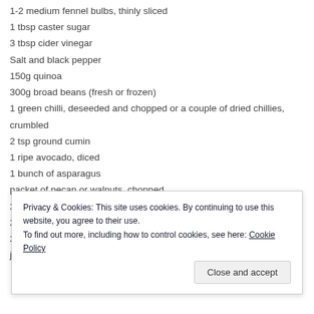1-2 medium fennel bulbs, thinly sliced
1 tbsp caster sugar
3 tbsp cider vinegar
Salt and black pepper
150g quinoa
300g broad beans (fresh or frozen)
1 green chilli, deseeded and chopped or a couple of dried chillies, crumbled
2 tsp ground cumin
1 ripe avocado, diced
1 bunch of asparagus
packet of pecan or walnuts, chopped
25g chopped mint
25g chopped coriander
25g chopped dill or basil
juice of 1 lemon
Privacy & Cookies: This site uses cookies. By continuing to use this website, you agree to their use.
To find out more, including how to control cookies, see here: Cookie Policy
Close and accept